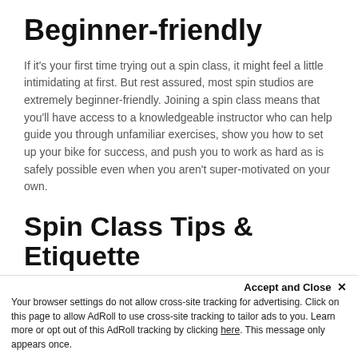Beginner-friendly
If it's your first time trying out a spin class, it might feel a little intimidating at first. But rest assured, most spin studios are extremely beginner-friendly. Joining a spin class means that you'll have access to a knowledgeable instructor who can help guide you through unfamiliar exercises, show you how to set up your bike for success, and push you to work as hard as is safely possible even when you aren't super-motivated on your own.
Spin Class Tips & Etiquette
Psyched to get into spin? Here are some quick things you should know before calling up your local studio and hopping into the next class:
Accept and Close ×
Your browser settings do not allow cross-site tracking for advertising. Click on this page to allow AdRoll to use cross-site tracking to tailor ads to you. Learn more or opt out of this AdRoll tracking by clicking here. This message only appears once.